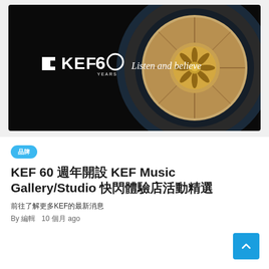[Figure (photo): KEF 60 Years anniversary banner showing a close-up of a KEF speaker driver (blue/gold concentric circles) on a dark background with KEF 60 YEARS logo and tagline 'Listen and believe']
品牌
KEF 60 週年開設 KEF Music Gallery/Studio 快閃體驗店活動精選
前往了解更多KEF的最新消息
By 編輯   10 個月 ago